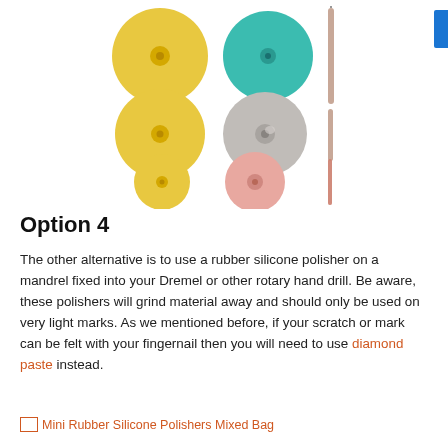[Figure (photo): Six rubber silicone polisher discs arranged in three pairs (rows): top row has yellow disc and teal/green disc; middle row has yellow disc and gray disc; bottom row has yellow disc and pink disc. A thin cylindrical mandrel tool is shown to the right of each pair.]
Option 4
The other alternative is to use a rubber silicone polisher on a mandrel fixed into your Dremel or other rotary hand drill. Be aware, these polishers will grind material away and should only be used on very light marks. As we mentioned before, if your scratch or mark can be felt with your fingernail then you will need to use diamond paste instead.
Mini Rubber Silicone Polishers Mixed Bag